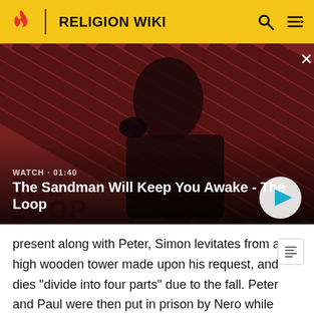RELIGION WIKI
[Figure (screenshot): Video thumbnail showing a dark-robed figure with a raven on shoulder against red diagonal-striped background. Title: 'The Sandman Will Keep You Awake - The Loop'. Watch duration: 01:40.]
present along with Peter, Simon levitates from a high wooden tower made upon his request, and dies "divide into four parts" due to the fall. Peter and Paul were then put in prison by Nero while ordering Simon's body be kept carefully for three days (thinking he would rise again).[14]